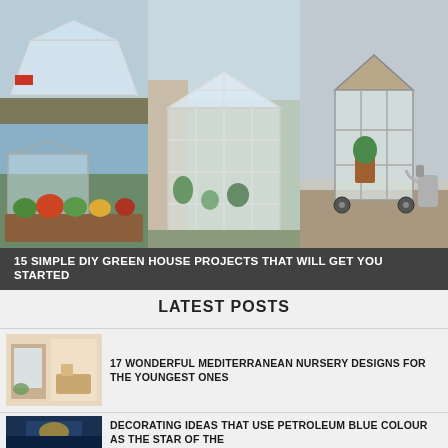[Figure (photo): Collage of three DIY greenhouse projects: top-left shows a plastic sheeting greenhouse, bottom-left shows a raised garden bed with vegetables, center shows a large glass-panel greenhouse made from old windows, right shows a small portable greenhouse on wheels]
15 SIMPLE DIY GREEN HOUSE PROJECTS THAT WILL GET YOU STARTED
LATEST POSTS
[Figure (photo): Thumbnail of Mediterranean nursery design interior]
17 WONDERFUL MEDITERRANEAN NURSERY DESIGNS FOR THE YOUNGEST ONES
[Figure (photo): Thumbnail of petroleum blue coloured room decoration]
DECORATING IDEAS THAT USE PETROLEUM BLUE COLOUR AS THE STAR OF THE